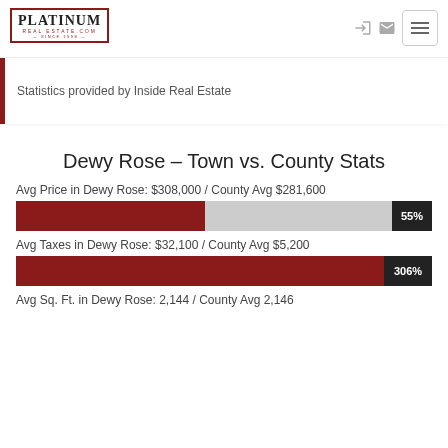[Figure (logo): Platinum Real Estate logo with red border and text 'PLATINUM REAL ESTATE.COM SINCE 1998']
Statistics provided by Inside Real Estate
Dewy Rose - Town vs. County Stats
Avg Price in Dewy Rose: $308,000 / County Avg $281,600
[Figure (bar-chart): Avg Price bar]
Avg Taxes in Dewy Rose: $32,100 / County Avg $5,200
[Figure (bar-chart): Avg Taxes bar]
Avg Sq. Ft. in Dewy Rose: 2,144 / County Avg 2,146